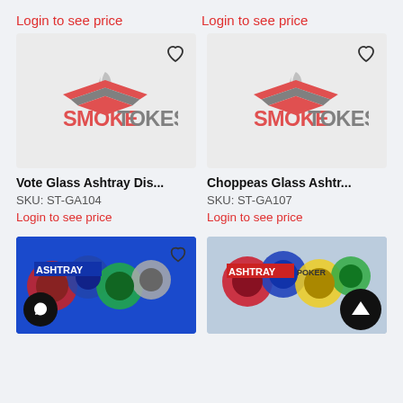Login to see price
Login to see price
[Figure (photo): SmokeTokes logo on gray background with heart icon — Vote Glass Ashtray product image placeholder]
[Figure (photo): SmokeTokes logo on gray background with heart icon — Choppeas Glass Ashtray product image placeholder]
Vote Glass Ashtray Dis...
SKU: ST-GA104
Login to see price
Choppeas Glass Ashtr...
SKU: ST-GA107
Login to see price
[Figure (photo): Blue ashtray display product with colorful poker chip style ashtrays, heart icon and chat button overlay]
[Figure (photo): Colorful poker chip ashtray display product with scroll-to-top button overlay]